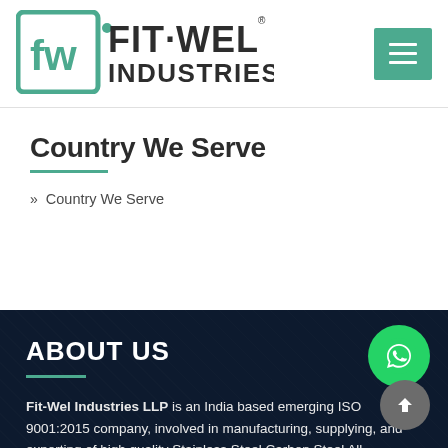[Figure (logo): Fit-Wel Industries LLP logo with stylized FW monogram in teal square and brand name in dark text]
[Figure (other): Hamburger menu icon button in teal/green background with three white horizontal lines]
Country We Serve
» Country We Serve
ABOUT US
Fit-Wel Industries LLP is an India based emerging ISO 9001:2015 company, involved in manufacturing, supplying, and exporting of high quality Stainless Steel Carbon Steel All...